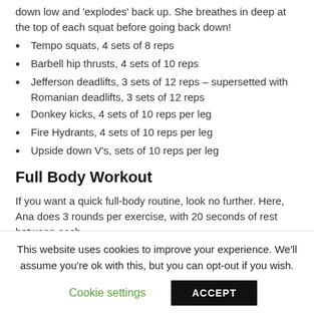down low and 'explodes' back up. She breathes in deep at the top of each squat before going back down!
Tempo squats, 4 sets of 8 reps
Barbell hip thrusts, 4 sets of 10 reps
Jefferson deadlifts, 3 sets of 12 reps – supersetted with Romanian deadlifts, 3 sets of 12 reps
Donkey kicks, 4 sets of 10 reps per leg
Fire Hydrants, 4 sets of 10 reps per leg
Upside down V's, sets of 10 reps per leg
Full Body Workout
If you want a quick full-body routine, look no further. Here, Ana does 3 rounds per exercise, with 20 seconds of rest between each
This website uses cookies to improve your experience. We'll assume you're ok with this, but you can opt-out if you wish.
Cookie settings  ACCEPT